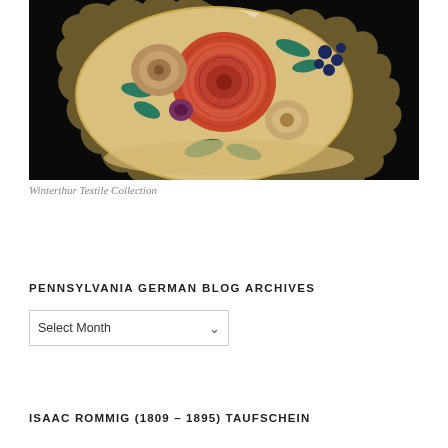[Figure (photo): Photograph of an embroidered textile piece from the Winterthur Textile Collection, showing a round scallop-edged item with floral embroidery on a cream background — large red flower in center, smaller tan/brown flowers, teal leaves, and dark blue berry clusters, displayed on a black background.]
Winterthur Textile Collection
PENNSYLVANIA GERMAN BLOG ARCHIVES
Select Month
ISAAC ROMMIG (1809 – 1895) TAUFSCHEIN